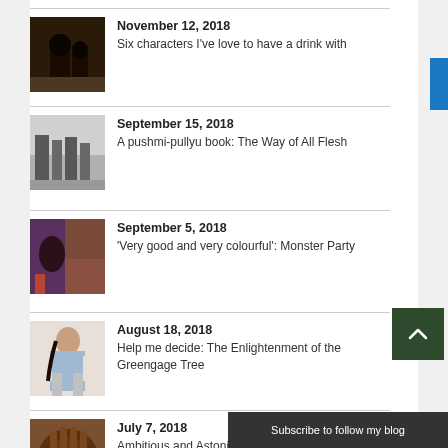November 12, 2018
Six characters I've love to have a drink with
September 15, 2018
A pushmi-pullyu book: The Way of All Flesh
September 5, 2018
'Very good and very colourful': Monster Party
August 18, 2018
Help me decide: The Enlightenment of the Greengage Tree
July 7, 2018
Ambitious and Astonishing: Homegoing
Subscribe to follow my blog